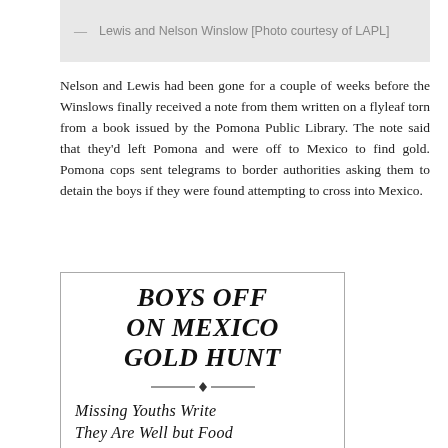— Lewis and Nelson Winslow [Photo courtesy of LAPL]
Nelson and Lewis had been gone for a couple of weeks before the Winslows finally received a note from them written on a flyleaf torn from a book issued by the Pomona Public Library. The note said that they'd left Pomona and were off to Mexico to find gold. Pomona cops sent telegrams to border authorities asking them to detain the boys if they were found attempting to cross into Mexico.
[Figure (screenshot): Newspaper clipping with bold headline 'BOYS OFF ON MEXICO GOLD HUNT' and italic subheadline 'Missing Youths Write They Are Well but Food Proves Problem']